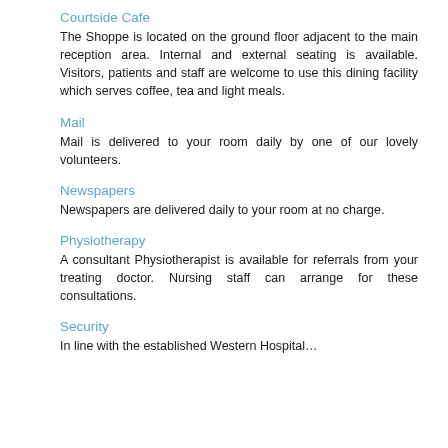Courtside Cafe
The Shoppe is located on the ground floor adjacent to the main reception area. Internal and external seating is available. Visitors, patients and staff are welcome to use this dining facility which serves coffee, tea and light meals.
Mail
Mail is delivered to your room daily by one of our lovely volunteers.
Newspapers
Newspapers are delivered daily to your room at no charge.
Physiotherapy
A consultant Physiotherapist is available for referrals from your treating doctor. Nursing staff can arrange for these consultations.
Security
In line with the established Western Hospital…